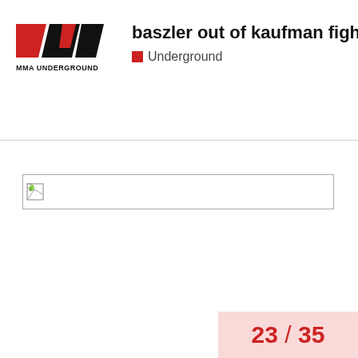MMA UNDERGROUND
baszler out of kaufman fight
Underground
[Figure (other): Broken/missing image placeholder — a small icon with a torn image symbol inside a rectangular bordered box]
23 / 35